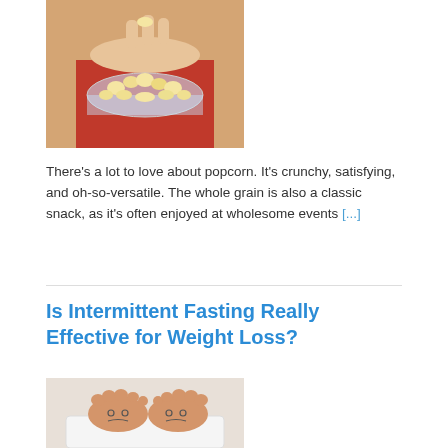[Figure (photo): Person in red top holding a glass bowl of popcorn, eating a piece]
There's a lot to love about popcorn. It's crunchy, satisfying, and oh-so-versatile. The whole grain is also a classic snack, as it's often enjoyed at wholesome events [...]
Is Intermittent Fasting Really Effective for Weight Loss?
[Figure (photo): Two feet soles standing on a scale, with cartoon sad faces drawn on the heels]